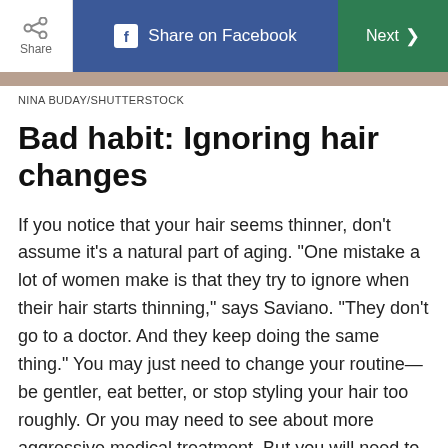Share | Share on Facebook | Next >
NINA BUDAY/SHUTTERSTOCK
Bad habit: Ignoring hair changes
If you notice that your hair seems thinner, don't assume it's a natural part of aging. "One mistake a lot of women make is that they try to ignore when their hair starts thinning," says Saviano. "They don't go to a doctor. And they keep doing the same thing." You may just need to change your routine—be gentler, eat better, or stop styling your hair too roughly. Or you may need to see about more aggressive medical treatment. But you will need to take action. "When hair is shedding, it's because